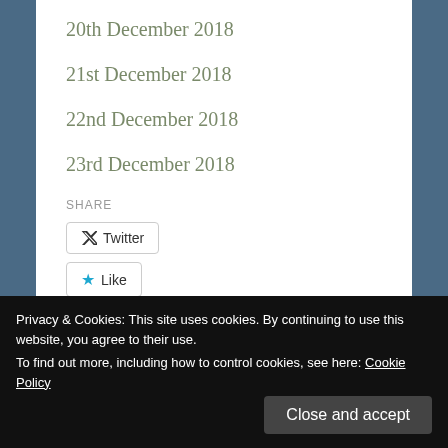20th December 2018
21st December 2018
22nd December 2018
23rd December 2018
SHARE
Twitter
Like
Be the first to like this.
Privacy & Cookies: This site uses cookies. By continuing to use this website, you agree to their use.
To find out more, including how to control cookies, see here: Cookie Policy
Close and accept